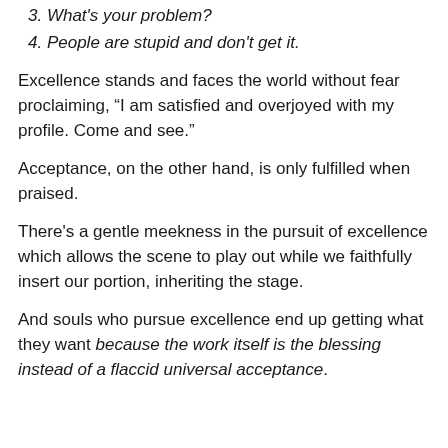3. What's your problem?
4. People are stupid and don't get it.
Excellence stands and faces the world without fear proclaiming, “I am satisfied and overjoyed with my profile. Come and see.”
Acceptance, on the other hand, is only fulfilled when praised.
There's a gentle meekness in the pursuit of excellence which allows the scene to play out while we faithfully insert our portion, inheriting the stage.
And souls who pursue excellence end up getting what they want because the work itself is the blessing instead of a flaccid universal acceptance.